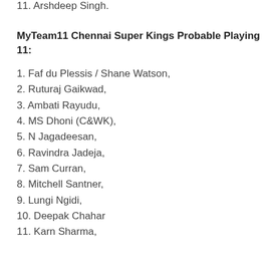11. Arshdeep Singh.
MyTeam11 Chennai Super Kings Probable Playing 11:
1. Faf du Plessis / Shane Watson,
2. Ruturaj Gaikwad,
3. Ambati Rayudu,
4. MS Dhoni (C&WK),
5. N Jagadeesan,
6. Ravindra Jadeja,
7. Sam Curran,
8. Mitchell Santner,
9. Lungi Ngidi,
10. Deepak Chahar
11. Karn Sharma,